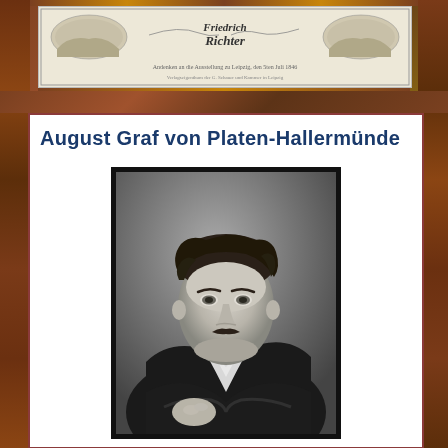[Figure (illustration): Old decorative scroll or certificate with text 'Friedrich Richter' visible, ornate design with small vignette images]
August Graf von Platen-Hallermünde
[Figure (photo): Black and white portrait photograph of August Graf von Platen-Hallermünde, a young man with curly dark hair and a mustache, wearing a dark coat with white collar, arms crossed, looking slightly to the side]